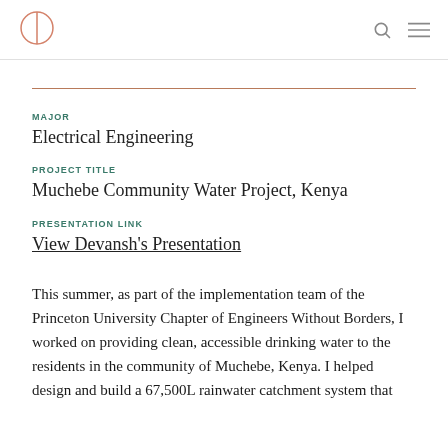CE logo, search icon, menu icon
MAJOR
Electrical Engineering
PROJECT TITLE
Muchebe Community Water Project, Kenya
PRESENTATION LINK
View Devansh's Presentation
This summer, as part of the implementation team of the Princeton University Chapter of Engineers Without Borders, I worked on providing clean, accessible drinking water to the residents in the community of Muchebe, Kenya. I helped design and build a 67,500L rainwater catchment system that